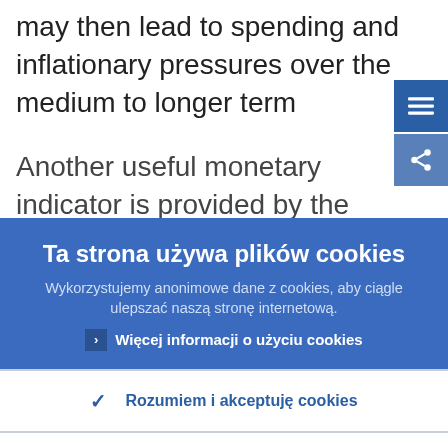may then lead to spending and inflationary pressures over the medium to longer term
Another useful monetary indicator is provided by the growth rates of M1. In contrast to developments in M3, the growth
Ta strona używa plików cookies
Wykorzystujemy anonimowe dane z cookies, aby ciągle ulepszać naszą stronę internetową.
Więcej informacji o użyciu cookies
Rozumiem i akceptuję cookies
Nie akceptuję cookies